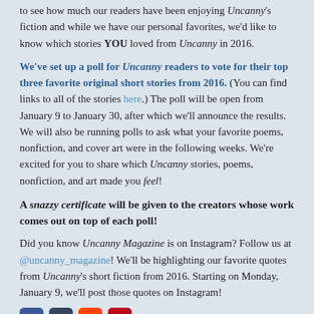to see how much our readers have been enjoying Uncanny's fiction and while we have our personal favorites, we'd like to know which stories YOU loved from Uncanny in 2016.
We've set up a poll for Uncanny readers to vote for their top three favorite original short stories from 2016. (You can find links to all of the stories here.) The poll will be open from January 9 to January 30, after which we'll announce the results. We will also be running polls to ask what your favorite poems, nonfiction, and cover art were in the following weeks. We're excited for you to share which Uncanny stories, poems, nonfiction, and art made you feel!
A snazzy certificate will be given to the creators whose work comes out on top of each poll!
Did you know Uncanny Magazine is on Instagram? Follow us at @uncanny_magazine! We'll be highlighting our favorite quotes from Uncanny's short fiction from 2016. Starting on Monday, January 9, we'll post those quotes on Instagram!
[Figure (other): Social media share icons: Facebook (blue), Tumblr (dark blue), Reddit (orange), Pinterest (red)]